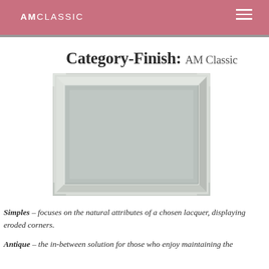AMCLASSIC
Category-Finish: AM Classic
[Figure (photo): A cabinet door panel with a light gray-green lacquer finish showing eroded/antique corners and a raised center panel]
Simples – focuses on the natural attributes of a chosen lacquer, displaying eroded corners.
Antique – the in-between solution for those who enjoy maintaining the